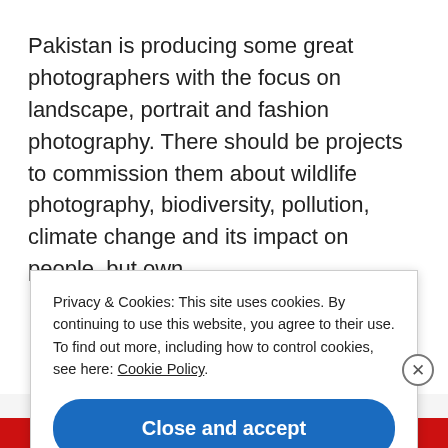Pakistan is producing some great photographers with the focus on landscape, portrait and fashion photography. There should be projects to commission them about wildlife photography, biodiversity, pollution, climate change and its impact on people, but own initiatives are more encouraged and should be...
Privacy & Cookies: This site uses cookies. By continuing to use this website, you agree to their use.
To find out more, including how to control cookies, see here: Cookie Policy
Close and accept
Advertisements